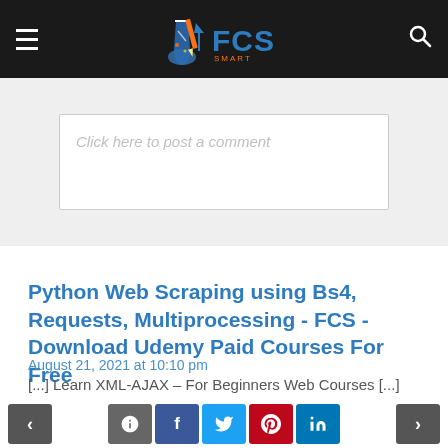FCS Smart
Click here to post a comment
Python Web Scraping using Bs4, Requests, Multiprocessing - FCS - Download Udemy Paid Courses For Free
August 21, 2021 at 10:10 pm
[...] Learn XML-AJAX – For Beginners Web Courses [...]
REPLY